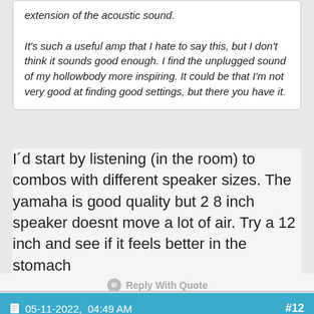extension of the acoustic sound.

It's such a useful amp that I hate to say this, but I don't think it sounds good enough. I find the unplugged sound of my hollowbody more inspiring. It could be that I'm not very good at finding good settings, but there you have it.
I´d start by listening (in the room) to combos with different speaker sizes. The yamaha is good quality but 2 8 inch speaker doesnt move a lot of air. Try a 12 inch and see if it feels better in the stomach
Reply With Quote
05-11-2022,  04:49 AM  #12
Litterick